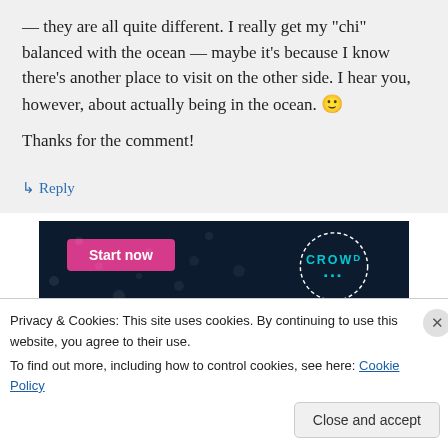— they are all quite different. I really get my "chi" balanced with the ocean — maybe it's because I know there's another place to visit on the other side. I hear you, however, about actually being in the ocean. 🙂 Thanks for the comment!
↳ Reply
[Figure (screenshot): Advertisement banner with dark navy background, pink 'Start now' button on left, and CROWD logo circle on right]
Privacy & Cookies: This site uses cookies. By continuing to use this website, you agree to their use.
To find out more, including how to control cookies, see here: Cookie Policy
Close and accept